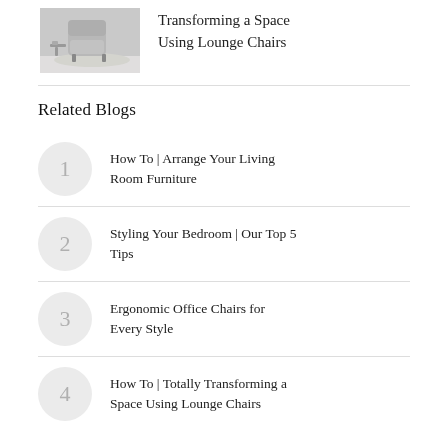[Figure (photo): Photo of a lounge chair in a living room setting]
Transforming a Space Using Lounge Chairs
Related Blogs
How To | Arrange Your Living Room Furniture
Styling Your Bedroom | Our Top 5 Tips
Ergonomic Office Chairs for Every Style
How To | Totally Transforming a Space Using Lounge Chairs